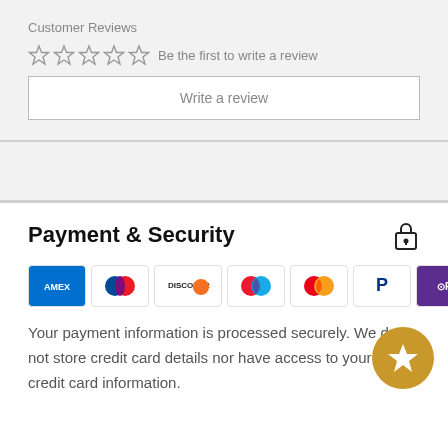Customer Reviews
☆☆☆☆☆ Be the first to write a review
Write a review
Payment & Security
[Figure (logo): Payment method logos: Amex, Diners Club, Discover, Maestro, Mastercard, PayPal, OPay, Visa]
Your payment information is processed securely. We do not store credit card details nor have access to your credit card information.